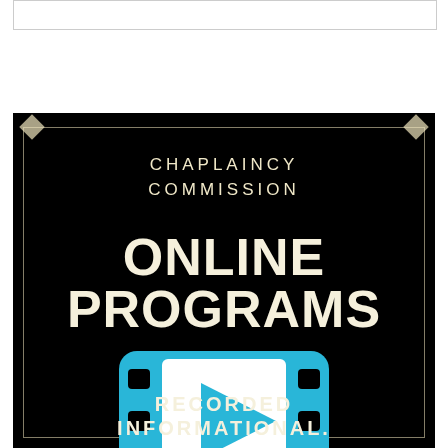[Figure (other): Empty white rectangle at top of page, resembling a placeholder image box with a thin border]
[Figure (illustration): Chaplaincy Commission Online Programs promotional poster with black background, decorative diamond-corner border, title text 'CHAPLAINCY COMMISSION', large bold text 'ONLINE PROGRAMS', a film strip icon with play button in cyan/blue, and bottom text 'RECORDED INFORMATIONAL.']